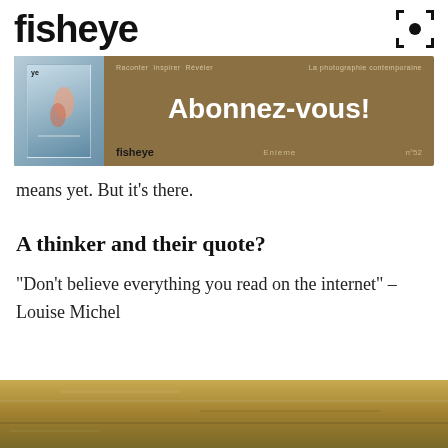fisheye
[Figure (illustration): Fisheye magazine advertisement banner with brown/tan background. Left side shows a magazine cover with blue tones. Right side has text: 'Raconter Inspirer Révéler' and 'La photographie contemporaine' at top, large bold 'Abonnez-vous!' in center, and 'fisheye', 'Enieme', 'n°52' at bottom.]
means yet. But it's there.
A thinker and their quote?
“Don’t believe everything you read on the internet” – Louise Michel
[Figure (photo): Bottom portion of a sandy/earthy textured photograph, brownish gold tones.]